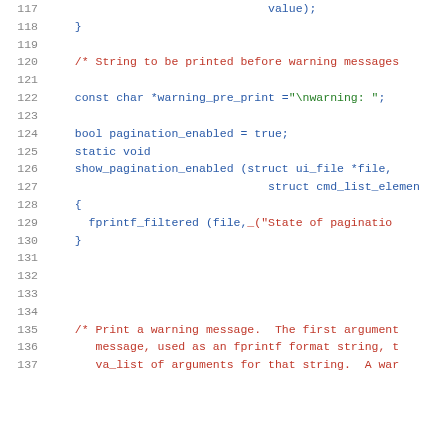Source code listing, lines 117–137, showing C code with syntax highlighting including a comment about warning messages, a const char variable, a bool variable, a static void function declaration (show_pagination_enabled), and a comment about print a warning message.